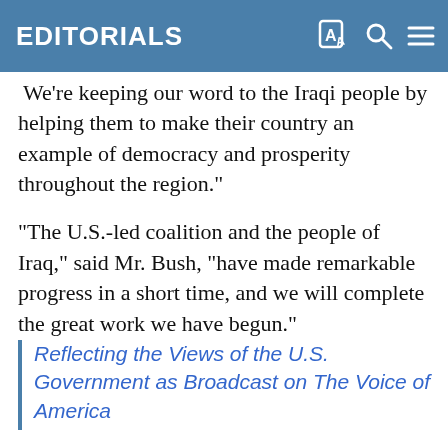EDITORIALS
We're keeping our word to the Iraqi people by helping them to make their country an example of democracy and prosperity throughout the region."
"The U.S.-led coalition and the people of Iraq," said Mr. Bush, "have made remarkable progress in a short time, and we will complete the great work we have begun."
Reflecting the Views of the U.S. Government as Broadcast on The Voice of America